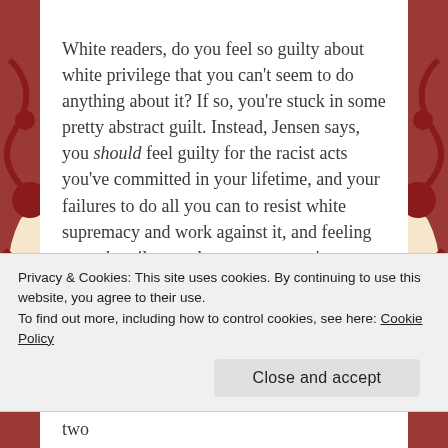White readers, do you feel so guilty about white privilege that you can't seem to do anything about it? If so, you're stuck in some pretty abstract guilt. Instead, Jensen says, you should feel guilty for the racist acts you've committed in your lifetime, and your failures to do all you can to resist white supremacy and work against it, and feeling enough guilt to make sure you won't repeat those mistakes. This makes your guilt actionable – you can work to reduce your guilt, rather than be overwhelmed by it.
Privacy & Cookies: This site uses cookies. By continuing to use this website, you agree to their use.
To find out more, including how to control cookies, see here: Cookie Policy
Close and accept
Next, Jensen talks about white fear. The first two